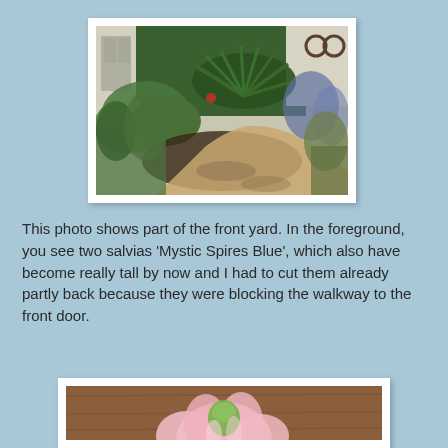[Figure (photo): Garden photo showing a front yard walkway with lush green plants and foliage including a sago palm in the center, various flowering plants and shrubs on both sides of a stone path, with a building visible in the background.]
This photo shows part of the front yard. In the foreground, you see two salvias 'Mystic Spires Blue', which also have become really tall by now and I had to cut them already partly back because they were blocking the walkway to the front door.
[Figure (photo): Close-up photo of a pink flower bud just beginning to open, with a green center and delicate pale pink petals, against a blurred brown wooden background.]